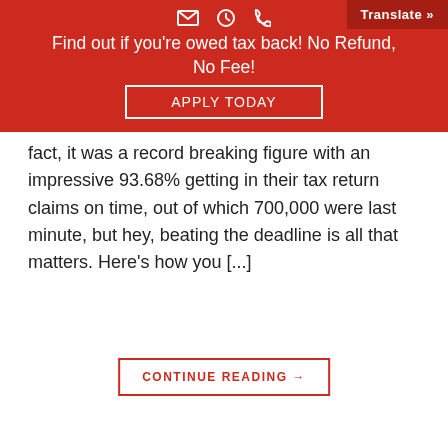Find out if you're owed tax back! No Refund, No Fee!
fact, it was a record breaking figure with an impressive 93.68% getting in their tax return claims on time, out of which 700,000 were last minute, but hey, beating the deadline is all that matters. Here's how you [...]
CONTINUE READING →